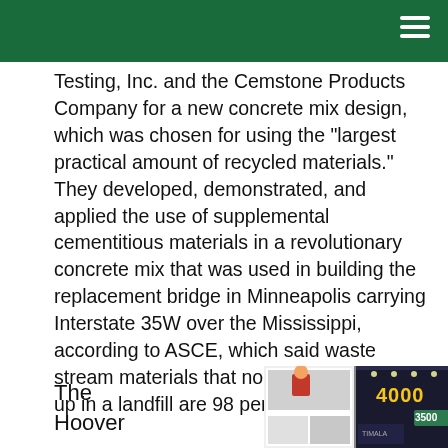Testing, Inc. and the Cemstone Products Company for a new concrete mix design, which was chosen for using the "largest practical amount of recycled materials." They developed, demonstrated, and applied the use of supplemental cementitious materials in a revolutionary concrete mix that was used in building the replacement bridge in Minneapolis carrying Interstate 35W over the Mississippi, according to ASCE, which said waste stream materials that normally would end up in a landfill are 98 percent of the mix.
The Hoover
[Figure (photo): Two exhibition booth photos side by side showing trade show displays; one shows a white exhibit booth with a person, the other shows a dark booth with signage showing '4000' and '3500'.]